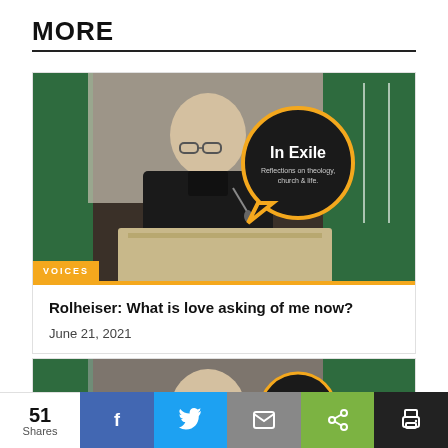MORE
[Figure (photo): Man speaking at a podium with 'In Exile – Reflections on theology, church & life' speech bubble overlay. Green banners in background. VOICES label at bottom left.]
Rolheiser: What is love asking of me now?
June 21, 2021
[Figure (photo): Partial view of a second article card showing a man and a circular logo similar to the first image.]
51 Shares